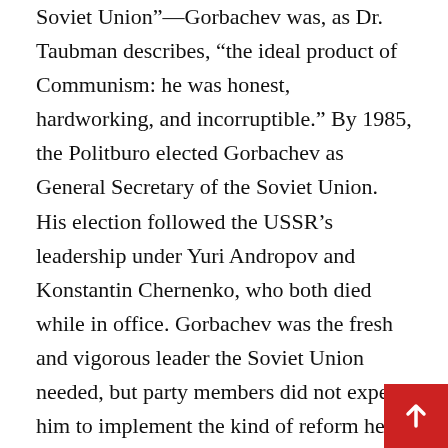Soviet Union”—Gorbachev was, as Dr. Taubman describes, “the ideal product of Communism: he was honest, hardworking, and incorruptible.” By 1985, the Politburo elected Gorbachev as General Secretary of the Soviet Union. His election followed the USSR’s leadership under Yuri Andropov and Konstantin Chernenko, who both died while in office. Gorbachev was the fresh and vigorous leader the Soviet Union needed, but party members did not expect him to implement the kind of reform he eventually did.
Gorbachev’s main mission was ultimately to democratize the country—he pursued this goal through progressive policies, including the most notable glasnost and perestroika reforms. However